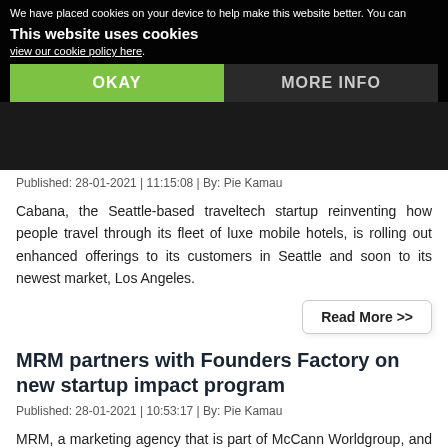We have placed cookies on your device to help make this website better. You can view our cookie policy here.
This website uses cookies
OKAY
MORE INFO
Published: 28-01-2021 | 11:15:08 | By: Pie Kamau
Cabana, the Seattle-based traveltech startup reinventing how people travel through its fleet of luxe mobile hotels, is rolling out enhanced offerings to its customers in Seattle and soon to its newest market, Los Angeles.
Read More >>
MRM partners with Founders Factory on new startup impact program
Published: 28-01-2021 | 10:53:17 | By: Pie Kamau
MRM, a marketing agency that is part of McCann Worldgroup, and Founders Factory, the influential startup studio and accelerator, announced a new partnership, to give MRM access to Founders Factory's network of startups.
Read More >>